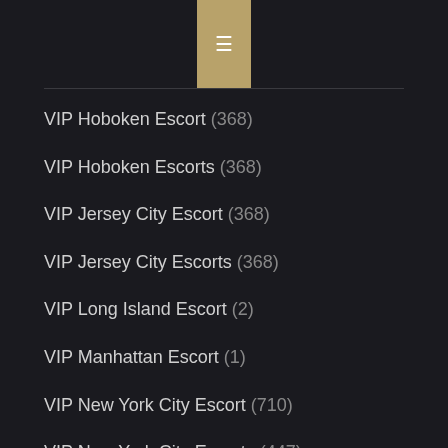≡
VIP Hoboken Escort (368)
VIP Hoboken Escorts (368)
VIP Jersey City Escort (368)
VIP Jersey City Escorts (368)
VIP Long Island Escort (2)
VIP Manhattan Escort (1)
VIP New York City Escort (710)
VIP New York City Escorts (447)
VIP NYC Escort (1,089)
VIP NYC Escorts (1,349)